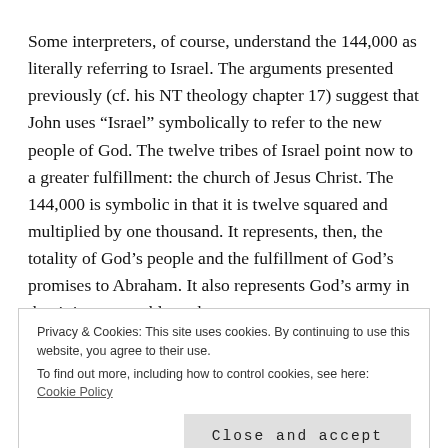Some interpreters, of course, understand the 144,000 as literally referring to Israel. The arguments presented previously (cf. his NT theology chapter 17) suggest that John uses “Israel” symbolically to refer to the new people of God. The twelve tribes of Israel point now to a greater fulfillment: the church of Jesus Christ. The 144,000 is symbolic in that it is twelve squared and multiplied by one thousand. It represents, then, the totality of God’s people and the fulfillment of God’s promises to Abraham. It also represents God’s army in that it is comparable to the
Privacy & Cookies: This site uses cookies. By continuing to use this website, you agree to their use.
To find out more, including how to control cookies, see here: Cookie Policy
Close and accept
church does not cancel out ethnic Israel, for the